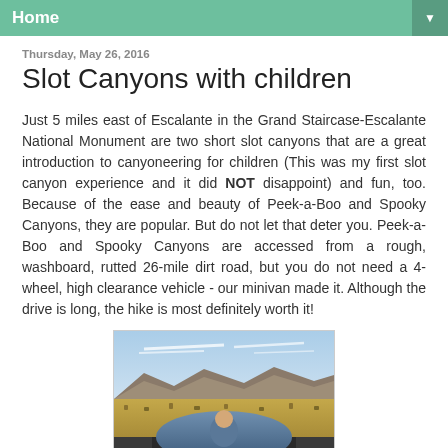Home
Thursday, May 26, 2016
Slot Canyons with children
Just 5 miles east of Escalante in the Grand Staircase-Escalante National Monument are two short slot canyons that are a great introduction to canyoneering for children (This was my first slot canyon experience and it did NOT disappoint) and fun, too. Because of the ease and beauty of Peek-a-Boo and Spooky Canyons, they are popular. But do not let that deter you. Peek-a-Boo and Spooky Canyons are accessed from a rough, washboard, rutted 26-mile dirt road, but you do not need a 4-wheel, high clearance vehicle - our minivan made it. Although the drive is long, the hike is most definitely worth it!
[Figure (photo): View from inside a vehicle through a side mirror showing a child, with a landscape of desert scrubland, mountains, and blue sky with clouds in the background.]